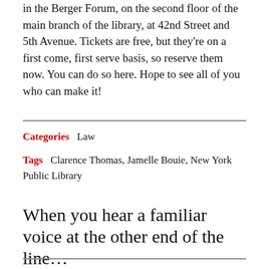in the Berger Forum, on the second floor of the main branch of the library, at 42nd Street and 5th Avenue. Tickets are free, but they're on a first come, first serve basis, so reserve them now. You can do so here. Hope to see all of you who can make it!
Categories   Law
Tags   Clarence Thomas, Jamelle Bouie, New York Public Library
When you hear a familiar voice at the other end of the line…